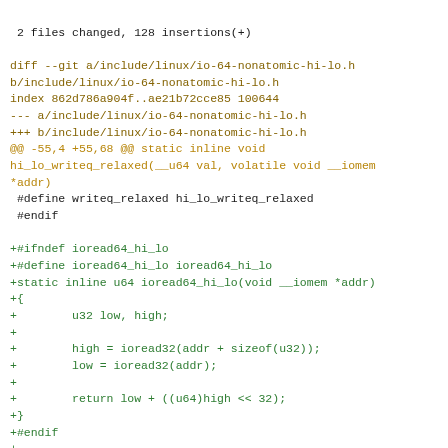2 files changed, 128 insertions(+)

diff --git a/include/linux/io-64-nonatomic-hi-lo.h b/include/linux/io-64-nonatomic-hi-lo.h
index 862d786a904f..ae21b72cce85 100644
--- a/include/linux/io-64-nonatomic-hi-lo.h
+++ b/include/linux/io-64-nonatomic-hi-lo.h
@@ -55,4 +55,68 @@ static inline void hi_lo_writeq_relaxed(__u64 val, volatile void __iomem *addr)
 #define writeq_relaxed hi_lo_writeq_relaxed
 #endif

+#ifndef ioread64_hi_lo
+#define ioread64_hi_lo ioread64_hi_lo
+static inline u64 ioread64_hi_lo(void __iomem *addr)
+{
+        u32 low, high;
+
+        high = ioread32(addr + sizeof(u32));
+        low = ioread32(addr);
+
+        return low + ((u64)high << 32);
+}
+#endif
+
+#ifndef iowrite64_hi_lo
+#define iowrite64_hi_lo iowrite64_hi_lo
+static inline void iowrite64_hi_lo(u64 val, void __iomem *addr)